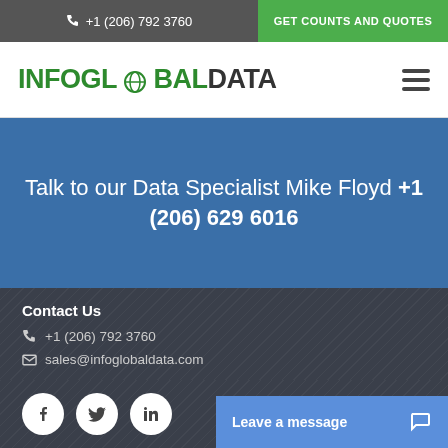+1 (206) 792 3760  |  GET COUNTS AND QUOTES
[Figure (logo): InfoGlobalData logo in green and dark text, with hamburger menu icon on the right]
Talk to our Data Specialist Mike Floyd +1 (206) 629 6016
Contact Us
+1 (206) 792 3760
sales@infoglobaldata.com
[Figure (other): Social media icons: Facebook, Twitter, LinkedIn circles]
Leave a message